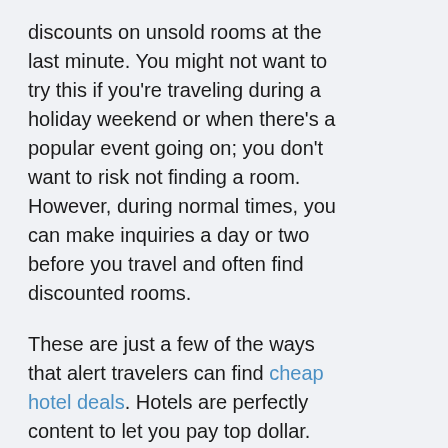discounts on unsold rooms at the last minute. You might not want to try this if you're traveling during a holiday weekend or when there's a popular event going on; you don't want to risk not finding a room. However, during normal times, you can make inquiries a day or two before you travel and often find discounted rooms.
These are just a few of the ways that alert travelers can find cheap hotel deals. Hotels are perfectly content to let you pay top dollar. There are, however, many ways to save money if you're willing to do a little research.